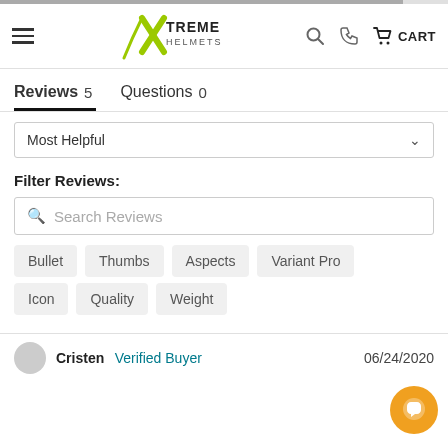Xtreme Helmets — navigation header with hamburger menu, logo, search, phone, and cart
Reviews 5   Questions 0
Most Helpful (sort dropdown)
Filter Reviews:
Search Reviews (search box)
Bullet
Thumbs
Aspects
Variant Pro
Icon
Quality
Weight
Cristen  Verified Buyer   06/24/2020